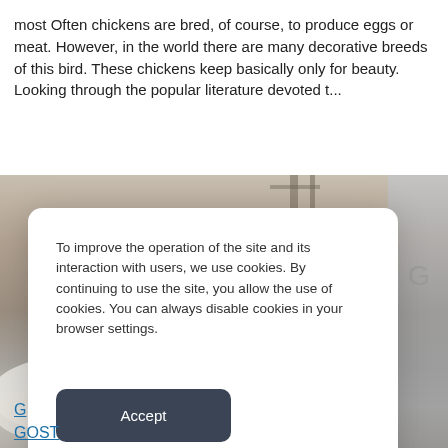most Often chickens are bred, of course, to produce eggs or meat. However, in the world there are many decorative breeds of this bird. These chickens keep basically only for beauty. Looking through the popular literature devoted t...
[Figure (photo): A photograph showing white fluffy material or feathers in what appears to be a barn or agricultural setting, taken from above.]
To improve the operation of the site and its interaction with users, we use cookies. By continuing to use the site, you allow the use of cookies. You can always disable cookies in your browser settings.
Accept
G
GOST